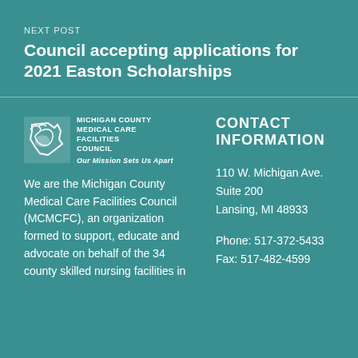NEXT POST
Council accepting applications for 2021 Easton Scholarships
[Figure (logo): Michigan County Medical Care Facilities Council logo with tagline 'Our Mission Sets Us Apart']
We are the Michigan County Medical Care Facilities Council (MCMCFC), an organization formed to support, educate and advocate on behalf of the 34 county skilled nursing facilities in
CONTACT INFORMATION
110 W. Michigan Ave.
Suite 200
Lansing, MI 48933
Phone: 517-372-5433
Fax: 517-482-4599